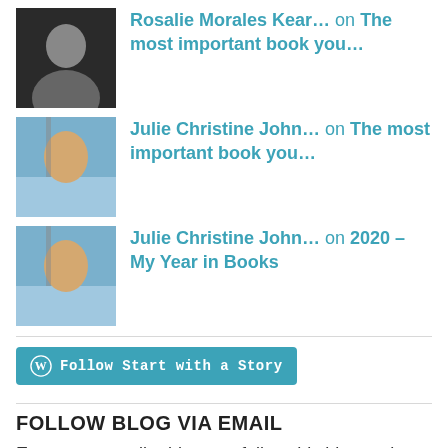Rosalie Morales Kear… on The most important book you…
Julie Christine John… on The most important book you…
Julie Christine John… on 2020 – My Year in Books
[Figure (other): Follow Start with a Story button with WordPress icon]
FOLLOW BLOG VIA EMAIL
Enter your email address to follow this blog and receive notifications of new posts by email.
Enter your email address